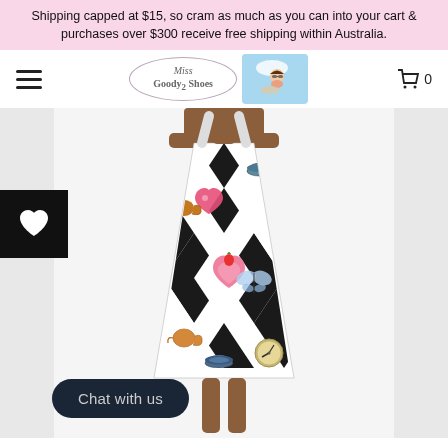Shipping capped at $15, so cram as much as you can into your cart & purchases over $300 receive free shipping within Australia.
[Figure (screenshot): Website navigation bar with hamburger menu, Miss Goody 2 Shoes logo oval, cartoon character image, and shopping cart icon with 0]
[Figure (photo): Model wearing an A-line dress with black and white harlequin diamond pattern featuring Alice in Wonderland themed illustrations including teacups, teapots, hearts, clocks, and butterflies]
Chat with us